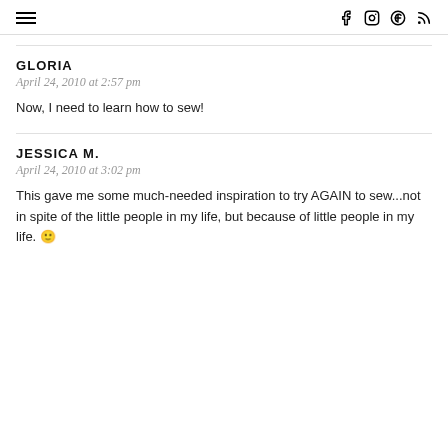☰  f  ⓘ  ⓟ  ⓡ
GLORIA
April 24, 2010 at 2:57 pm
Now, I need to learn how to sew!
JESSICA M.
April 24, 2010 at 3:02 pm
This gave me some much-needed inspiration to try AGAIN to sew...not in spite of the little people in my life, but because of little people in my life. 🙂